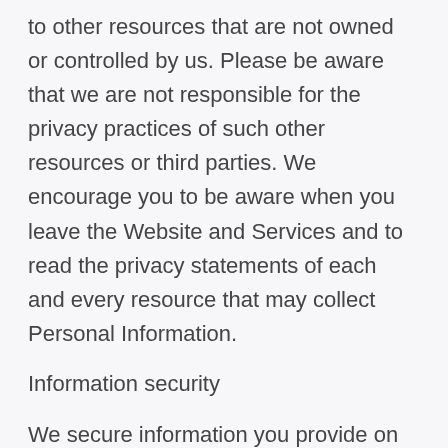to other resources that are not owned or controlled by us. Please be aware that we are not responsible for the privacy practices of such other resources or third parties. We encourage you to be aware when you leave the Website and Services and to read the privacy statements of each and every resource that may collect Personal Information.
Information security
We secure information you provide on computer servers in a controlled, secure